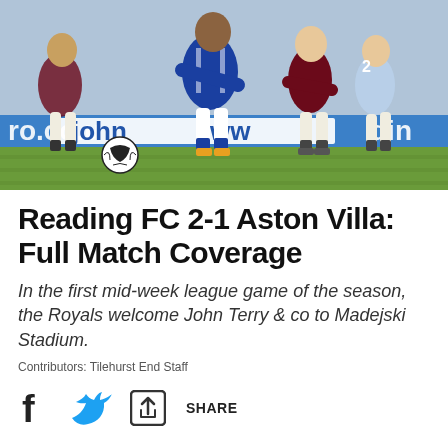[Figure (photo): Football match action photo showing players from Reading FC (in blue/white) and Aston Villa (in dark maroon/white) competing for the ball on a football pitch. Advertising boards visible in background reading 'john' and 'ro.co.u' (partial text).]
Reading FC 2-1 Aston Villa: Full Match Coverage
In the first mid-week league game of the season, the Royals welcome John Terry & co to Madejski Stadium.
Contributors: Tilehurst End Staff
[Figure (other): Social sharing icons: Facebook icon, Twitter bird icon, share/export icon with text SHARE]